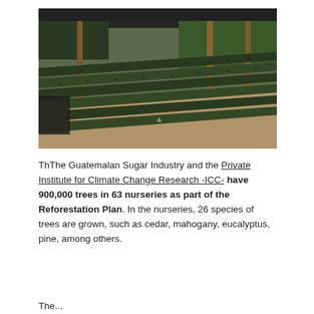[Figure (photo): A tree nursery showing rows and rows of small seedlings in black plastic bags arranged in long diagonal rows under a shade cloth canopy supported by wooden poles. The background shows trees and vegetation.]
ThThe Guatemalan Sugar Industry and the Private Institute for Climate Change Research -ICC- have 900,000 trees in 63 nurseries as part of the Reforestation Plan. In the nurseries, 26 species of trees are grown, such as cedar, mahogany, eucalyptus, pine, among others.